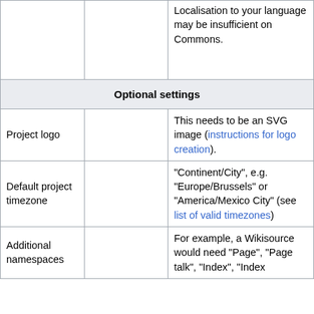|  |  |  |
| --- | --- | --- |
|  |  | Localisation to your language may be insufficient on Commons. |
| Optional settings |  |  |
| Project logo |  | This needs to be an SVG image (instructions for logo creation). |
| Default project timezone |  | "Continent/City", e.g. "Europe/Brussels" or "America/Mexico City" (see list of valid timezones) |
| Additional namespaces |  | For example, a Wikisource would need "Page", "Page talk", "Index", "Index |